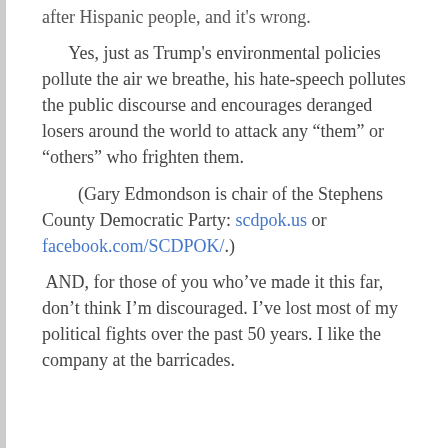after Hispanic people, and it's wrong.
Yes, just as Trump's environmental policies pollute the air we breathe, his hate-speech pollutes the public discourse and encourages deranged losers around the world to attack any “them” or “others” who frighten them.
(Gary Edmondson is chair of the Stephens County Democratic Party: scdpok.us or facebook.com/SCDPOK/.)
AND, for those of you who’ve made it this far, don’t think I’m discouraged. I’ve lost most of my political fights over the past 50 years. I like the company at the barricades.